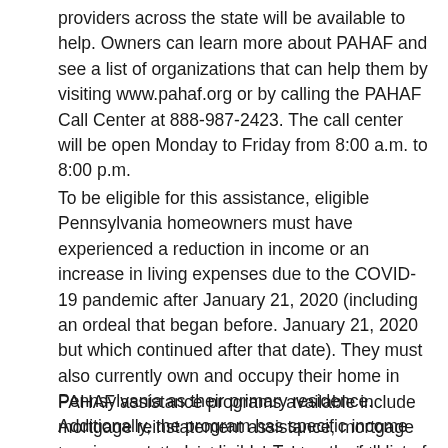providers across the state will be available to help. Owners can learn more about PAHAF and see a list of organizations that can help them by visiting www.pahaf.org or by calling the PAHAF Call Center at 888-987-2423. The call center will be open Monday to Friday from 8:00 a.m. to 8:00 p.m.
To be eligible for this assistance, eligible Pennsylvania homeowners must have experienced a reduction in income or an increase in living expenses due to the COVID-19 pandemic after January 21, 2020 (including an ordeal that began before. January 21, 2020 but which continued after that date). They must also currently own and occupy their home in Pennsylvania as their primary residence. Additionally, the program has specific income requirements to be eligible. To see the full list of eligibility requirements, visit https://pahaf.org/am-i-eligible/.
PAHAF assistance programs available include mortgage reinstatement assistance, mortgage term payment assistance, land tax assistance, and utility payment assistance to avoid